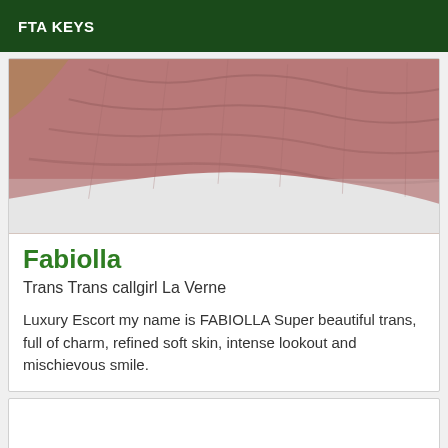FTA KEYS
[Figure (photo): Photo of a pink/mauve knitted blanket draped over a white bed with wooden headboard visible]
Fabiolla
Trans Trans callgirl La Verne
Luxury Escort my name is FABIOLLA Super beautiful trans, full of charm, refined soft skin, intense lookout and mischievous smile.
[Figure (photo): Second listing card — content not visible (blank white card)]